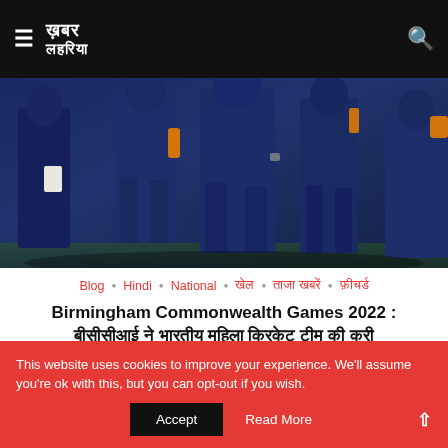≡ खबर लहरिया [logo]
[Figure (photo): Photograph of cricket players in navy blue uniforms viewed from behind, standing on a green field]
Blog • Hindi • National • खेल • ताजा खबरें • फ़ीचर्ड
Birmingham Commonwealth Games 2022 : बीसीसीआई ने भारतीय महिला क्रिकेट टीम की करी घोषणा
द्वारा Sandhya | July 12, 2022
This website uses cookies to improve your experience. We'll assume you're ok with this, but you can opt-out if you wish.